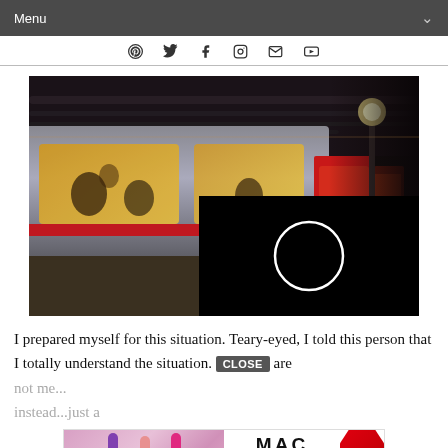Menu
[Figure (other): Social media icons bar: Pinterest, Twitter, Facebook, Instagram, Email, YouTube]
[Figure (photo): Subway/underground train station photo showing a blurred train on the left and a platform receding into the background with a person standing, overhead lights visible. A black video player overlay appears at the lower right with a white circle/play indicator. A close (X) button appears at the upper right of the overlay.]
I prepared myself for this situation. Teary-eyed, I told this person that I totally understand the situation. T[CLOSE]are
not me
instead
[Figure (other): MAC Cosmetics advertisement banner with lipsticks on the left side, MAC logo text in the center, SHOP NOW button, and a red lipstick on the right.]